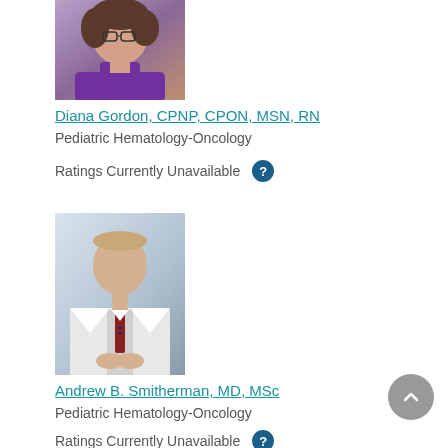[Figure (photo): Headshot of Diana Gordon wearing purple turtleneck and glasses]
Diana Gordon, CPNP, CPON, MSN, RN
Pediatric Hematology-Oncology
Ratings Currently Unavailable
[Figure (photo): Professional photo of Andrew B. Smitherman in white lab coat with tie]
Andrew B. Smitherman, MD, MSc
Pediatric Hematology-Oncology
Ratings Currently Unavailable